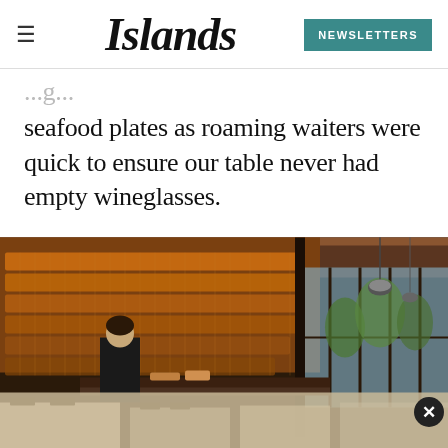Islands — NEWSLETTERS
seafood plates as roaming waiters were quick to ensure our table never had empty wineglasses.
[Figure (photo): Interior of a restaurant with dramatic bottle-lined shelving illuminated in warm amber light, a worker behind a bar counter, and large floor-to-ceiling windows overlooking tropical palm trees and sky. Lower portion shows a partially visible dining room with tables and chairs.]